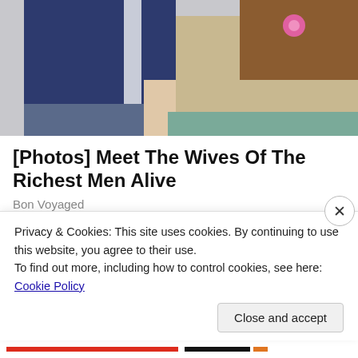[Figure (photo): Top portion of a photo showing a man in a navy suit and a woman in a beige/gold lace dress with a pink flower, seated together]
[Photos] Meet The Wives Of The Richest Men Alive
Bon Voyaged
[Figure (photo): Second image showing a blue sky background, partially loaded]
Privacy & Cookies: This site uses cookies. By continuing to use this website, you agree to their use.
To find out more, including how to control cookies, see here: Cookie Policy
Close and accept